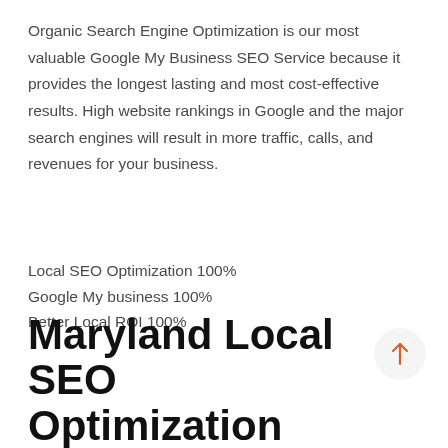Organic Search Engine Optimization is our most valuable Google My Business SEO Service because it provides the longest lasting and most cost-effective results. High website rankings in Google and the major search engines will result in more traffic, calls, and revenues for your business.
Local SEO Optimization 100%
Google My business 100%
Better Local ROI 100%
Maryland Local SEO Optimization